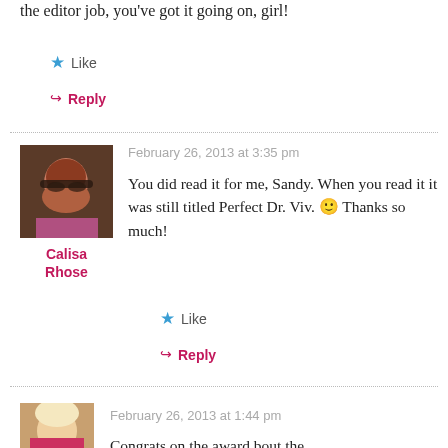the editor job, you've got it going on, girl!
★ Like
↳ Reply
February 26, 2013 at 3:35 pm
You did read it for me, Sandy. When you read it it was still titled Perfect Dr. Viv. 🙂 Thanks so much!
Calisa Rhose
★ Like
↳ Reply
February 26, 2013 at 1:44 pm